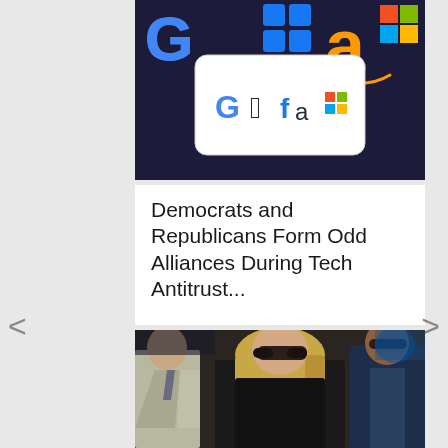[Figure (photo): Tech company logos including Google, Meta/Facebook, Apple, Amazon, Microsoft displayed on screens and billboards]
Democrats and Republicans Form Odd Alliances During Tech Antitrust...
[Figure (photo): A woman with long blonde hair wearing sunglasses and a black top, flanked by two men — one in a light suit on the left and one in a dark navy blazer on the right, walking outdoors]